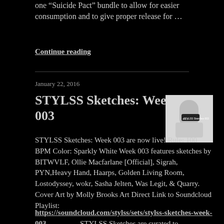one “Suicide Pact” bundle to allow for easier consumption and to give proper release for …
Continue reading
January 22, 2016
STYLSS Sketches: Week 003
[Figure (photo): Album cover artwork for STYLSS Sketches Week 003, white/grey tones with a figure and text overlay]
STYLSS Sketches: Week 003 are now live! Rule: 100 BPM Color: Sparkly White Week 003 features sketches by BITWVLF, Ollie Macfarlane [Official], Sigrah, PYN, Heavy Hand, Haarps, Golden Living Room, Lostodyssey, wokr, Sasha Jelten, Was Legit, & Quarry. Cover Art by Molly Brooks Art Direct Link to Soundcloud Playlist: https://soundcloud.com/stylss/sets/stylss-sketches-week-003 STYLSS Sketches are curated to … Continue reading